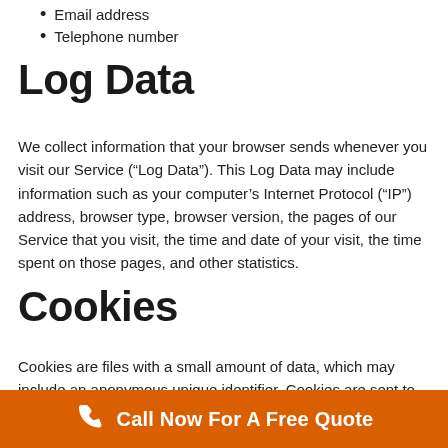Email address
Telephone number
Log Data
We collect information that your browser sends whenever you visit our Service (“Log Data”). This Log Data may include information such as your computer’s Internet Protocol (“IP”) address, browser type, browser version, the pages of our Service that you visit, the time and date of your visit, the time spent on those pages, and other statistics.
Cookies
Cookies are files with a small amount of data, which may include an anonymous unique identifier. Cookies are sent to your browser from a website and stored on your computer’s hard drive.
Call Now For A Free Quote